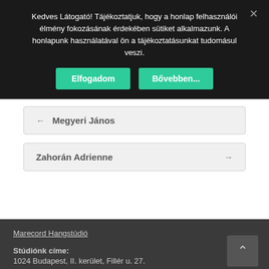Kedves Látogató! Tájékoztatjuk, hogy a honlap felhasználói élmény fokozásának érdekében sütiket alkalmazunk. A honlapunk használatával ön a tájékoztatásunkat tudomásul veszi.
Elfogadom  Bővebben...
← Megyeri János
Zahorán Adrienne →
Marecord Hangstúdió
Stúdiónk címe:
1024 Budapest, II. kerület, Fillér u. 27.